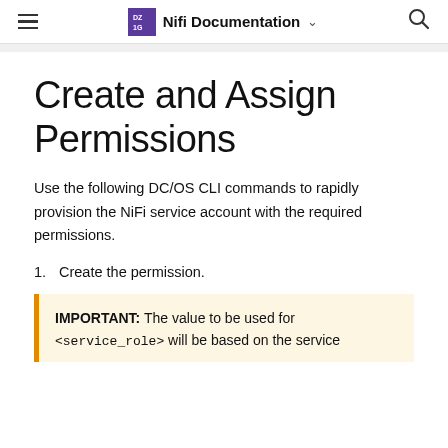Nifi Documentation
Create and Assign Permissions
Use the following DC/OS CLI commands to rapidly provision the NiFi service account with the required permissions.
1. Create the permission.
IMPORTANT: The value to be used for <service_role> will be based on the service